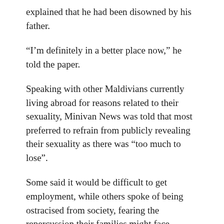explained that he had been disowned by his father.
“I’m definitely in a better place now,” he told the paper.
Speaking with other Maldivians currently living abroad for reasons related to their sexuality, Minivan News was told that most preferred to refrain from publicly revealing their sexuality as there was “too much to lose”.
Some said it would be difficult to get employment, while others spoke of being ostracised from society, fearing the repercussion their families might face.
“I prefer to stay quiet about it in my country of origin and instead live elsewhere where I can live comfortably with my sexuality. I’d lose everything from my family connections, to friends, if I...